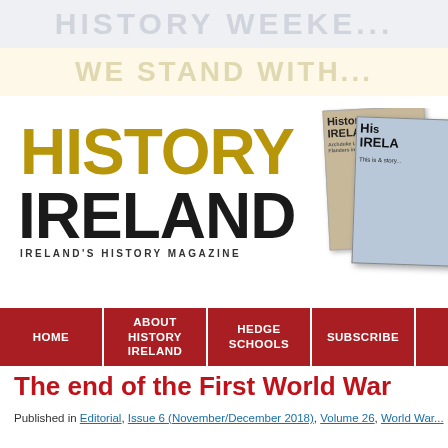[Figure (screenshot): History Weekend banner text in light grey on light blue-grey background: 'HISTORY WEEKE...']
[Figure (screenshot): Second banner text in muted gold on cream background: 'WE STAND WITH...']
[Figure (logo): History Ireland magazine logo with gold 'HISTORY' text and black 'IRELAND' text, tagline 'IRELAND'S HISTORY MAGAZINE', with two magazine covers on the right side]
| HOME | ABOUT HISTORY IRELAND | HEDGE SCHOOLS | SUBSCRIBE |  |
| --- | --- | --- | --- | --- |
The end of the First World War
Published in Editorial, Issue 6 (November/December 2018), Volume 26, World War...